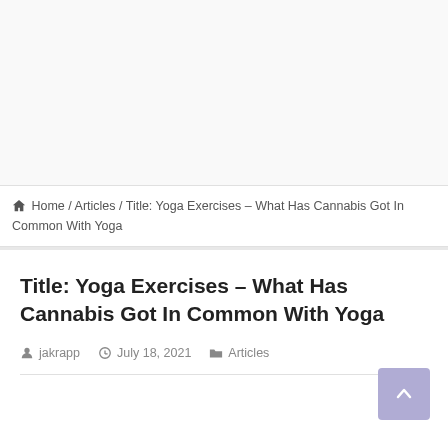Home / Articles / Title: Yoga Exercises – What Has Cannabis Got In Common With Yoga
Title: Yoga Exercises – What Has Cannabis Got In Common With Yoga
jakrapp   July 18, 2021   Articles